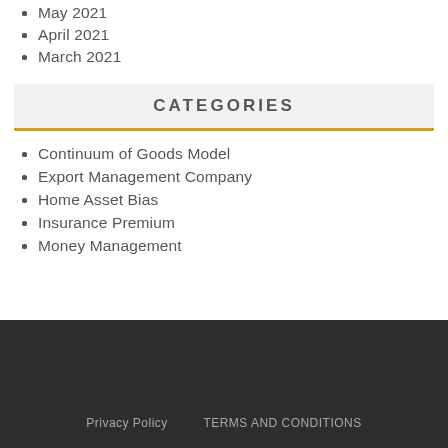May 2021
April 2021
March 2021
CATEGORIES
Continuum of Goods Model
Export Management Company
Home Asset Bias
Insurance Premium
Money Management
Privacy Policy   TERMS AND CONDITIONS